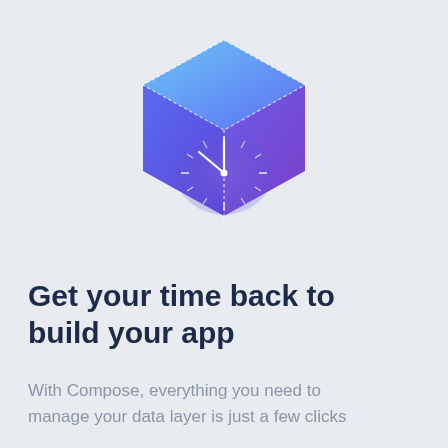[Figure (illustration): 3D isometric cube with a gradient from blue-purple (top) to purple (bottom), featuring a clock face on the front face with white clock hands and minute tick marks. A dotted white line runs vertically down the center of the cube.]
Get your time back to build your app
With Compose, everything you need to manage your data layer is just a few clicks